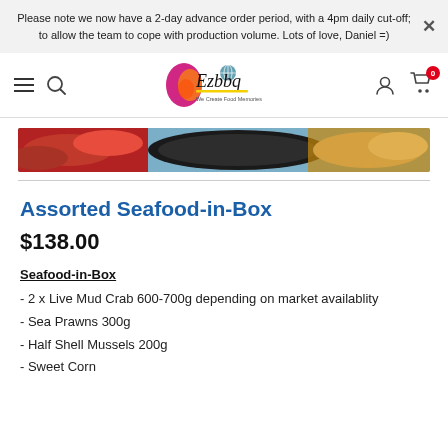Please note we now have a 2-day advance order period, with a 4pm daily cut-off; to allow the team to cope with production volume. Lots of love, Daniel =)
[Figure (logo): Ezbbq logo with colorful flame graphic and tagline 'We Create Food Memories']
[Figure (photo): Hero banner image showing seafood items including crab and prawns on a dark pan, with red peppers visible]
Assorted Seafood-in-Box
$138.00
Seafood-in-Box
- 2 x Live Mud Crab 600-700g depending on market availablity
- Sea Prawns 300g
- Half Shell Mussels 200g
- Sweet Corn